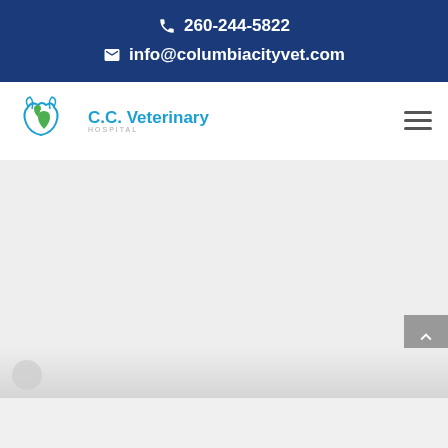260-244-5822 info@columbiacityvet.com
[Figure (logo): C.C. Veterinary Hospital logo with animal silhouettes and heart icon in blue and green]
[Figure (illustration): Light gray main content area with scroll-to-top button on the right side]